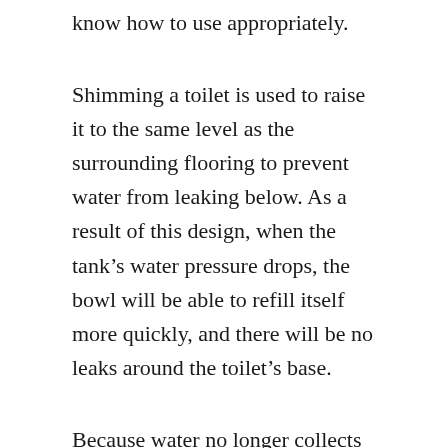know how to use appropriately.
Shimming a toilet is used to raise it to the same level as the surrounding flooring to prevent water from leaking below. As a result of this design, when the tank’s water pressure drops, the bowl will be able to refill itself more quickly, and there will be no leaks around the toilet’s base.
Because water no longer collects underneath it, it protects the toilet from harm caused by wear and tear. When building toilets with flush valves at the bottom of the tank or on one side, wax rings are utilized as seals. These toilets are less prevalent at home centers and hardware shops than flanged